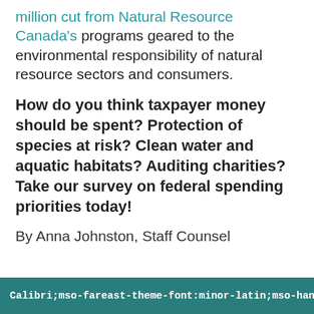million cut from Natural Resource Canada's programs geared to the environmental responsibility of natural resource sectors and consumers.
How do you think taxpayer money should be spent? Protection of species at risk? Clean water and aquatic habitats? Auditing charities? Take our survey on federal spending priorities today!
By Anna Johnston, Staff Counsel
Calibri;mso-fareast-theme-font:minor-latin;mso-hansi-the